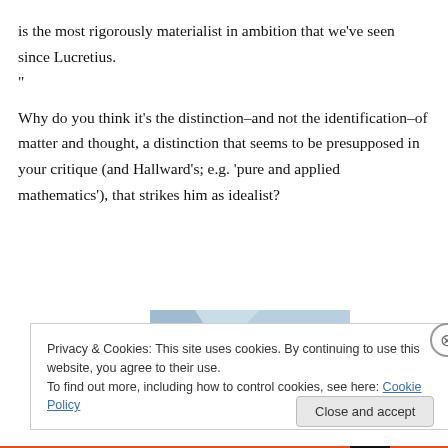is the most rigorously materialist in ambition that we've seen since Lucretius.
"

Why do you think it's the distinction–and not the identification–of matter and thought, a distinction that seems to be presupposed in your critique (and Hallward's; e.g. 'pure and applied mathematics'), that strikes him as idealist?
[Figure (illustration): Partial view of book covers with blue/grey angular design elements]
Privacy & Cookies: This site uses cookies. By continuing to use this website, you agree to their use.
To find out more, including how to control cookies, see here: Cookie Policy
Close and accept